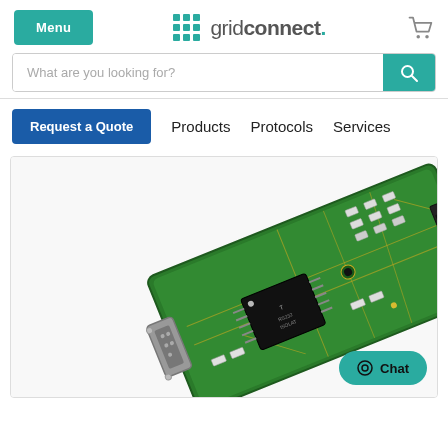Menu | gridconnect. [cart icon]
What are you looking for? [search button]
Request a Quote | Products | Protocols | Services
[Figure (photo): Close-up photo of a green PCB (printed circuit board) with a black IC chip, various SMD components, and a black connector on the right. A DB9 serial connector is visible at the lower left.]
Chat